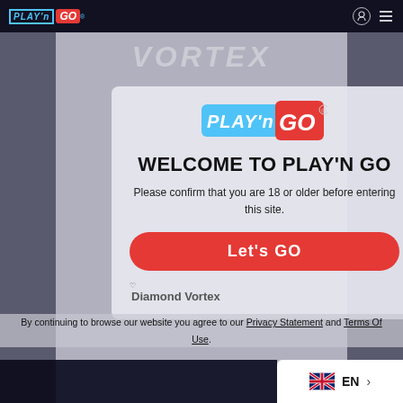[Figure (screenshot): Play'n GO website screenshot with age verification modal overlay]
WELCOME TO PLAY'N GO
Please confirm that you are 18 or older before entering this site.
Let's GO
By continuing to browse our website you agree to our Privacy Statement and Terms Of Use.